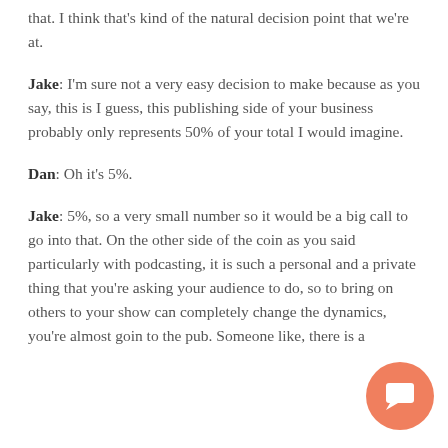that. I think that's kind of the natural decision point that we're at.
Jake: I'm sure not a very easy decision to make because as you say, this is I guess, this publishing side of your business probably only represents 50% of your total I would imagine.
Dan: Oh it's 5%.
Jake: 5%, so a very small number so it would be a big call to go into that. On the other side of the coin as you said particularly with podcasting, it is such a personal and a private thing that you're asking your audience to do, so to bring on others to your show can completely change the dynamics, you're almost going to the pub. Someone like, there is a